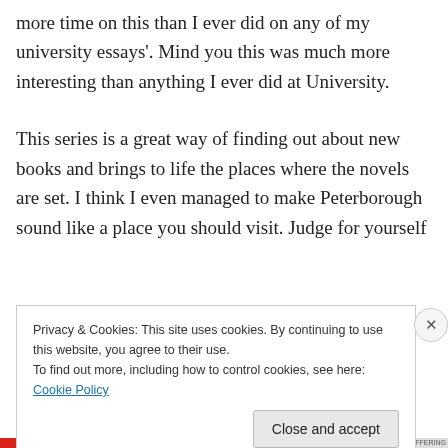more time on this than I ever did on any of my university essays'. Mind you this was much more interesting than anything I ever did at University.
This series is a great way of finding out about new books and brings to life the places where the novels are set. I think I even managed to make Peterborough sound like a place you should visit. Judge for yourself
Privacy & Cookies: This site uses cookies. By continuing to use this website, you agree to their use.
To find out more, including how to control cookies, see here: Cookie Policy
Close and accept